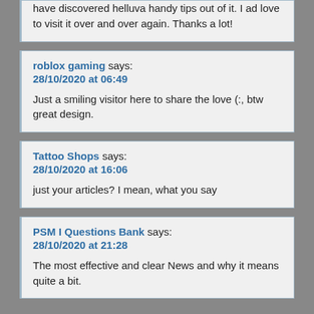have discovered helluva handy tips out of it. I ad love to visit it over and over again. Thanks a lot!
roblox gaming says:
28/10/2020 at 06:49

Just a smiling visitor here to share the love (:, btw great design.
Tattoo Shops says:
28/10/2020 at 16:06

just your articles? I mean, what you say
PSM I Questions Bank says:
28/10/2020 at 21:28

The most effective and clear News and why it means quite a bit.